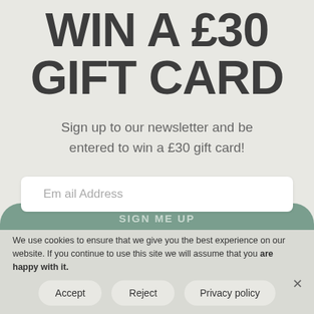WIN A £30 GIFT CARD
Sign up to our newsletter and be entered to win a £30 gift card!
Email Address
SIGN ME UP
We use cookies to ensure that we give you the best experience on our website. If you continue to use this site we will assume that you are happy with it.
Accept
Reject
Privacy policy